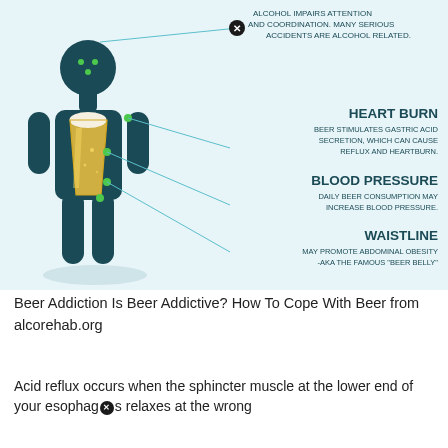[Figure (infographic): Infographic showing a silhouette of a human body with a beer glass overlay, with callout lines pointing to health effects: alcohol impairs attention and coordination (accidents), heart burn, blood pressure, waistline (beer belly). Green dots mark points on the body figure connected by lines to the text labels on the right.]
Beer Addiction Is Beer Addictive? How To Cope With Beer from alcorehab.org
Acid reflux occurs when the sphincter muscle at the lower end of your esophagus relaxes at the wrong